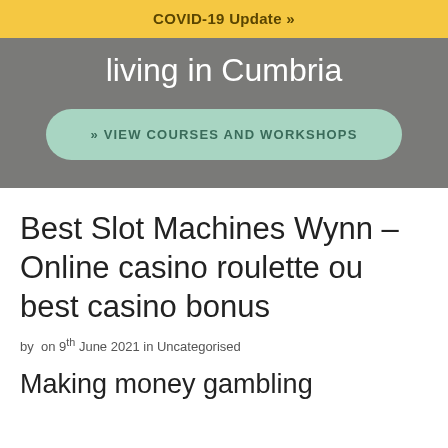COVID-19 Update »
living in Cumbria
» VIEW COURSES AND WORKSHOPS
Best Slot Machines Wynn – Online casino roulette ou best casino bonus
by  on 9th June 2021 in Uncategorised
Making money gambling